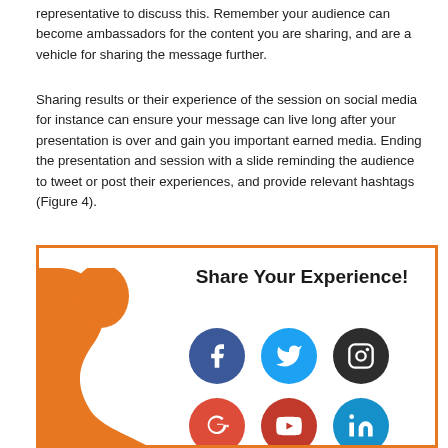representative to discuss this. Remember your audience can become ambassadors for the content you are sharing, and are a vehicle for sharing the message further.
Sharing results or their experience of the session on social media for instance can ensure your message can live long after your presentation is over and gain you important earned media. Ending the presentation and session with a slide reminding the audience to tweet or post their experiences, and provide relevant hashtags (Figure 4).
[Figure (illustration): A framed slide graphic titled 'Share Your Experience!' with social media icons: Facebook, Twitter, Instagram, Google+, YouTube, LinkedIn, and an orange profile silhouette on the left side.]